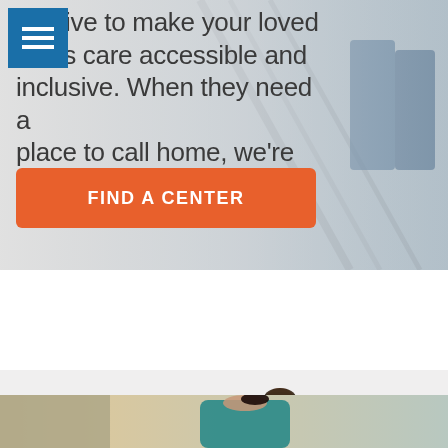[Figure (photo): Hero section with semi-transparent overlay showing a person on stairs/with walker in background, with hamburger menu icon in top-left corner]
e strive to make your loved one's care accessible and inclusive. When they need a place to call home, we're here.
FIND A CENTER
[Figure (photo): Bottom portion of page showing a healthcare worker or nurse leaning forward, partially visible]